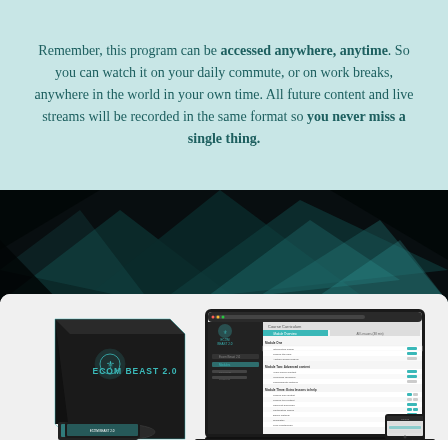Remember, this program can be accessed anywhere, anytime. So you can watch it on your daily commute, or on work breaks, anywhere in the world in your own time. All future content and live streams will be recorded in the same format so you never miss a single thing.
[Figure (illustration): Dark geometric background with teal/cyan triangular shapes forming an angular abstract pattern]
[Figure (photo): Product image showing ECOM BEAST 2.0 box set alongside a laptop displaying the course platform interface, plus smaller tablet and phone devices below]